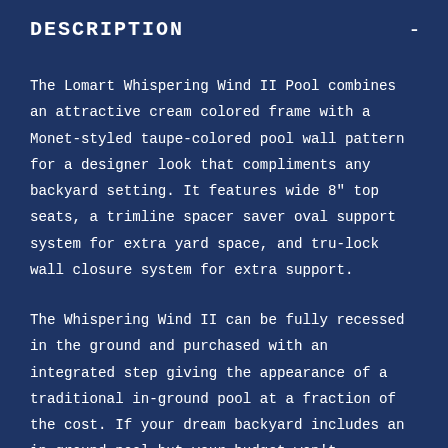DESCRIPTION
The Lomart Whispering Wind II Pool combines an attractive cream colored frame with a Monet-styled taupe-colored pool wall pattern for a designer look that compliments any backyard setting. It features wide 8" top seats, a trimline spacer saver oval support system for extra yard space, and tru-lock wall closure system for extra support.
The Whispering Wind II can be fully recessed in the ground and purchased with an integrated step giving the appearance of a traditional in-ground pool at a fraction of the cost. If your dream backyard includes an in-ground pool but your budget won't